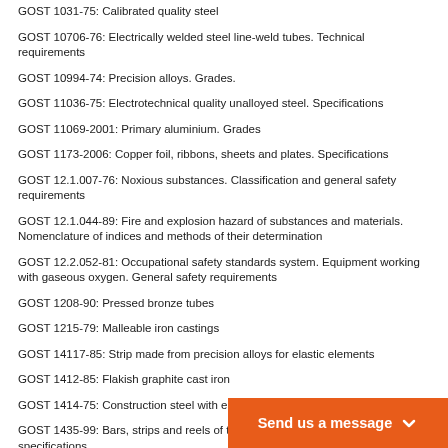GOST 1031-75: Calibrated quality steel
GOST 10706-76: Electrically welded steel line-weld tubes. Technical requirements
GOST 10994-74: Precision alloys. Grades.
GOST 11036-75: Electrotechnical quality unalloyed steel. Specifications
GOST 11069-2001: Primary aluminium. Grades
GOST 1173-2006: Copper foil, ribbons, sheets and plates. Specifications
GOST 12.1.007-76: Noxious substances. Classification and general safety requirements
GOST 12.1.044-89: Fire and explosion hazard of substances and materials. Nomenclature of indices and methods of their determination
GOST 12.2.052-81: Occupational safety standards system. Equipment working with gaseous oxygen. General safety requirements
GOST 1208-90: Pressed bronze tubes
GOST 1215-79: Malleable iron castings
GOST 14117-85: Strip made from precision alloys for elastic elements
GOST 1412-85: Flakish graphite cast iron
GOST 1414-75: Construction steel with enhanced and high machinability
GOST 1435-99: Bars, strips and reels of tool unalloyed steel. General specifications
GOST 14637-89: Thick sheet rolled stock of normal quality carbon steel
GOST 14959-79: Spring carbon and al…
GOST 14963-78: Doped steel spring w…